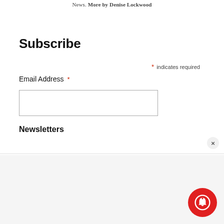News. More by Denise Lockwood
Subscribe
* indicates required
Email Address *
Newsletters